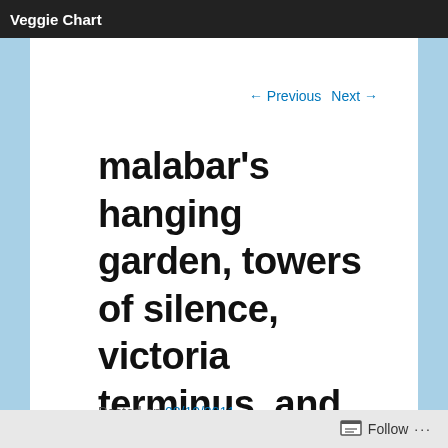Veggie Chart
← Previous   Next →
malabar's hanging garden, towers of silence, victoria terminus, and jain temple
Posted on 08/10/2011
Being a flower lover, the first time I visited Bombay and
Follow